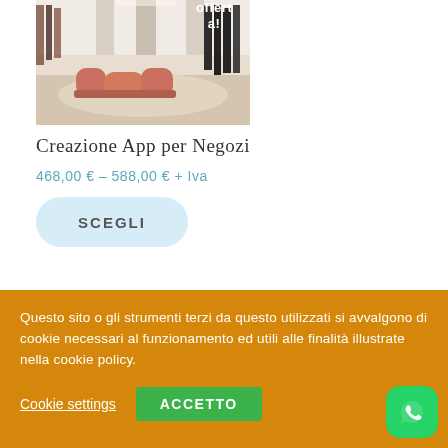[Figure (photo): Interior of a clothing/furniture store with terracotta/salmon colored sofa and hanging garments, bright interior]
Creazione App per Negozi
468,00 € – 588,00 € + Iva
SCEGLI
Questo sito o gli strumenti terzi da questo utilizzati si avvalgono di cookie necessari al funzionamento ed utili alle finalità illustrate nella cookie policy.
Cookie settings
ACCETTO